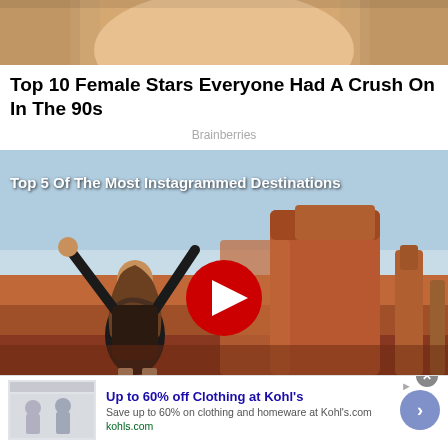[Figure (photo): Cropped photo showing a blonde person's face/hair from above]
Top 10 Female Stars Everyone Had A Crush On In The 90s
Brainberries
[Figure (screenshot): Video thumbnail showing a woman with arms raised in front of red rock formations (Monument Valley). Overlaid YouTube-style red play button and title text: Top 5 Of The Most Instagrammed Destinations]
[Figure (photo): Advertisement for Kohl's: Up to 60% off Clothing at Kohl's. Save up to 60% on clothing and homeware at Kohl's.com. kohls.com]